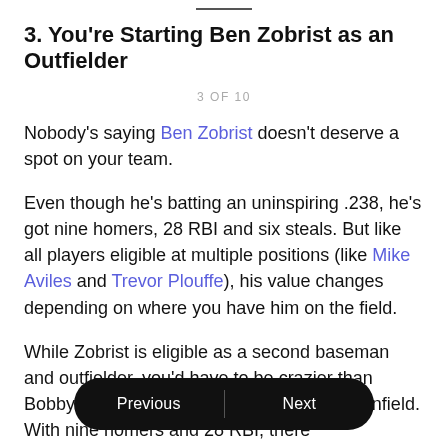3. You're Starting Ben Zobrist as an Outfielder
3 OF 10
Nobody's saying Ben Zobrist doesn't deserve a spot on your team.
Even though he's batting an uninspiring .238, he's got nine homers, 28 RBI and six steals. But like all players eligible at multiple positions (like Mike Aviles and Trevor Plouffe), his value changes depending on where you have him on the field.
While Zobrist is eligible as a second baseman and outfielder, you'd have to be crazier than Bobby Valentine to move Zobrist out of the infield. With nine homers and 28 RBI, there a… who would be better to have, but only six second basemen. On its own,